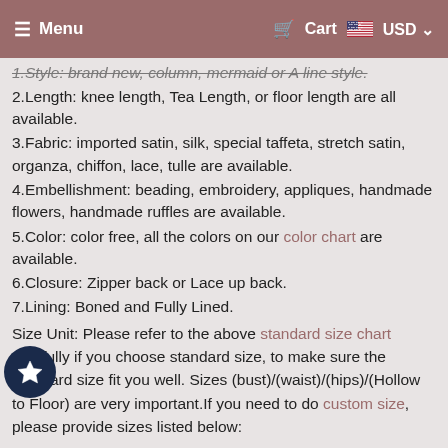Menu | Cart | USD
1.Style: brand new, column, mermaid or A line style.
2.Length: knee length, Tea Length, or floor length are all available.
3.Fabric: imported satin, silk, special taffeta, stretch satin, organza, chiffon, lace, tulle are available.
4.Embellishment: beading, embroidery, appliques, handmade flowers, handmade ruffles are available.
5.Color: color free, all the colors on our color chart are available.
6.Closure: Zipper back or Lace up back.
7.Lining: Boned and Fully Lined.
Size Unit: Please refer to the above standard size chart carefully if you choose standard size, to make sure the standard size fit you well. Sizes (bust)/(waist)/(hips)/(Hollow to Floor) are very important.If you need to do custom size, please provide sizes listed below:
1.Bust = __ inches
2.Waist = ___ inches
3.Hips = ___ inches